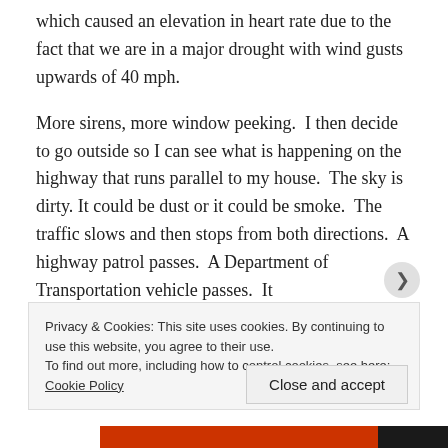which caused an elevation in heart rate due to the fact that we are in a major drought with wind gusts upwards of 40 mph.
More sirens, more window peeking.  I then decide to go outside so I can see what is happening on the highway that runs parallel to my house.  The sky is dirty. It could be dust or it could be smoke.  The traffic slows and then stops from both directions.  A highway patrol passes.  A Department of Transportation vehicle passes.  It
Privacy & Cookies: This site uses cookies. By continuing to use this website, you agree to their use.
To find out more, including how to control cookies, see here: Cookie Policy
Close and accept